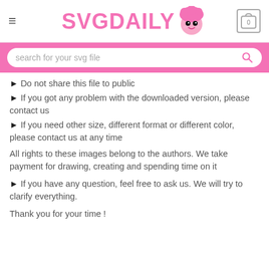SVGDAILYV [logo with mascot and cart icon showing 0]
[Figure (screenshot): Search bar with placeholder text 'search for your svg file' and a search icon on a pink background]
► Do not share this file to public
► If you got any problem with the downloaded version, please contact us
► If you need other size, different format or different color, please contact us at any time
All rights to these images belong to the authors. We take payment for drawing, creating and spending time on it
► If you have any question, feel free to ask us. We will try to clarify everything.
Thank you for your time !